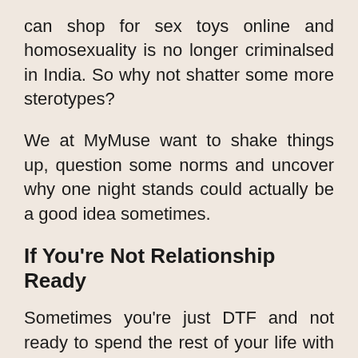can shop for sex toys online and homosexuality is no longer criminalsed in India. So why not shatter some more sterotypes?
We at MyMuse want to shake things up, question some norms and uncover why one night stands could actually be a good idea sometimes.
If You're Not Relationship Ready
Sometimes you're just DTF and not ready to spend the rest of your life with the person you met for a drink at 10 PM. It doesn't mean that you're nit-picking, it could simply mean that you're not in a commitment friendly space in your life.